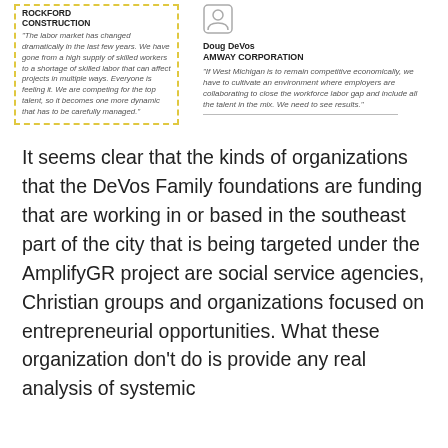ROCKFORD CONSTRUCTION
"The labor market has changed dramatically in the last few years. We have gone from a high supply of skilled workers to a shortage of skilled labor that can affect projects in multiple ways. Everyone is feeling it. We are competing for the top talent, so it becomes one more dynamic that has to be carefully managed."
Doug DeVos
AMWAY CORPORATION
"If West Michigan is to remain competitive economically, we have to cultivate an environment where employers are collaborating to close the workforce labor gap and include all the talent in the mix. We need to see results."
It seems clear that the kinds of organizations that the DeVos Family foundations are funding that are working in or based in the southeast part of the city that is being targeted under the AmplifyGR project are social service agencies, Christian groups and organizations focused on entrepreneurial opportunities. What these organization don't do is provide any real analysis of systemic